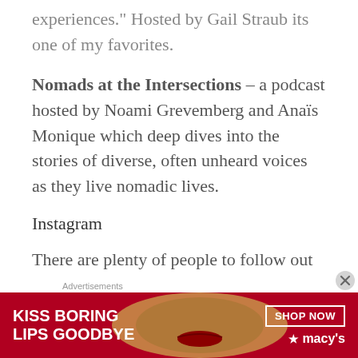experiences." Hosted by Gail Straub its one of my favorites.
Nomads at the Intersections – a podcast hosted by Noami Grevemberg and Anaïs Monique which deep dives into the stories of diverse, often unheard voices as they live nomadic lives.
Instagram
There are plenty of people to follow out there to expand and challenge your perceptions of the world. I believe in the simple fact we need to spend time listening to voices which reflect views other than our own. It can help to shift the opinions of the
Advertisements
[Figure (infographic): Macy's lipstick advertisement banner with red background, woman's face, text 'KISS BORING LIPS GOODBYE' and 'SHOP NOW' button with Macy's star logo]